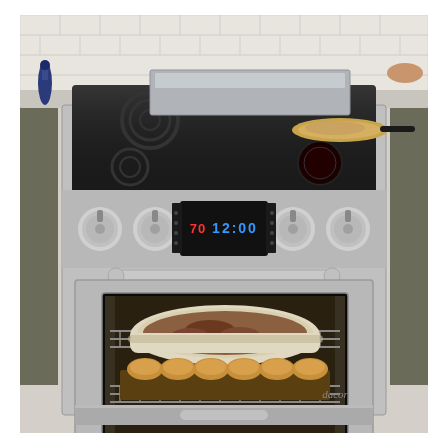[Figure (photo): Product photo of a Dacor stainless steel slide-in electric range with ceramic glass cooktop showing four burner elements, a stainless exhaust/backsplash riser at rear, four chrome control knobs flanking a digital clock display showing 12:00, a large oven window showing two racks with baked goods (a casserole dish on upper rack and rolls/muffins on lower rack), a chrome oven door handle, and the Dacor script logo on the lower right of the oven door. The range is set in a modern kitchen with tile backsplash, stone countertops, and dark cabinetry. A hand is visible at top right holding a skillet on the cooktop.]